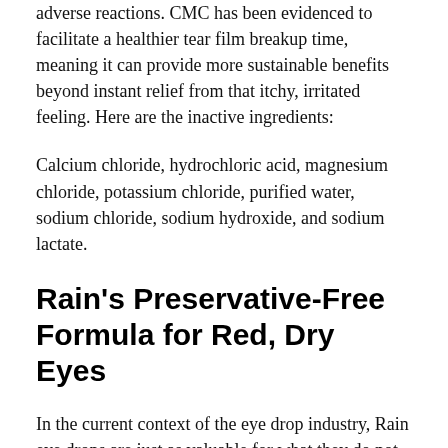adverse reactions. CMC has been evidenced to facilitate a healthier tear film breakup time, meaning it can provide more sustainable benefits beyond instant relief from that itchy, irritated feeling. Here are the inactive ingredients:
Calcium chloride, hydrochloric acid, magnesium chloride, potassium chloride, purified water, sodium chloride, sodium hydroxide, and sodium lactate.
Rain's Preservative-Free Formula for Red, Dry Eyes
In the current context of the eye drop industry, Rain eye drops are just as valuable for what they do not contain – harsh preservatives and other additives – as for what they do contain.